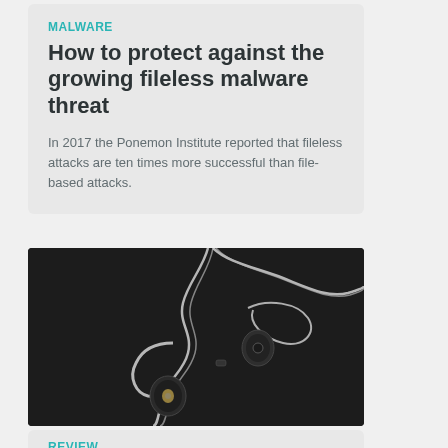MALWARE
How to protect against the growing fileless malware threat
In 2017 the Ponemon Institute reported that fileless attacks are ten times more successful than file-based attacks.
[Figure (photo): Close-up photo of black in-ear headphones/earphones with silver braided cable on a dark background]
REVIEW